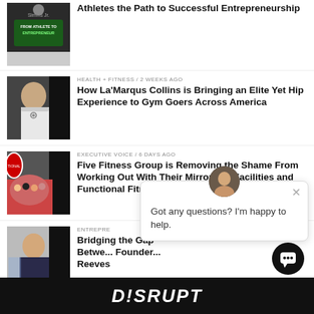Athletes the Path to Successful Entrepreneurship
HEALTH + FITNESS / 2 weeks ago — How La'Marqus Collins is Bringing an Elite Yet Hip Experience to Gym Goers Across America
EXECUTIVE VOICE / 6 days ago — Five Fitness Group is Removing the Shame From Working Out With Their Mirrorless Facilities and Functional Fitness Training
ENTREPRENEUR — Bridging the Gap Betwe... Founder... Reeves
Got any questions? I'm happy to help.
D!SRUPT